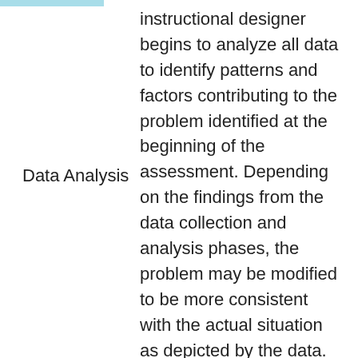instructional designer begins to analyze all data to identify patterns and factors contributing to the problem identified at the beginning of the assessment. Depending on the findings from the data collection and analysis phases, the problem may be modified to be more consistent with the actual situation as depicted by the data.
Data Analysis